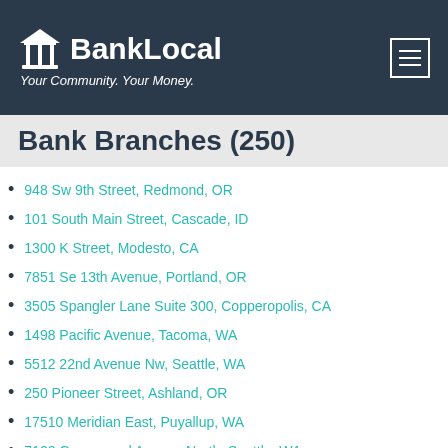BankLocal — Your Community. Your Money.
Bank Branches (250)
948 Sw 9th Street, Redmond, OR
101 South Main Street, Cascade, ID
1300 K Street, Modesto, CA
7851 Se 13th Avenue, Portland, OR
3505 Spangler Lane Suite 300, Copperopolis, CA
1498 Pacific Avenue, Tacoma, WA
5512 22nd Avenue Nw, Seattle, WA
250 Pioneer Street, Ashland, OR
17510 Meridian East, Puyallup, WA
7120 Greenwood Avenue North, Seattle, WA
1751 Circle Lane Se, Lacey, WA
7837 Sw Capitol Hwy, Suite 101, Portland, OR
822 Central Avenue, Oroville, WA
801 Fourth Street, Santa Rosa, CA
2200 Paseo Verde Pkwy., Suite 100, Henderson, NV
7803 Se 27th #170, Mercer Island, WA